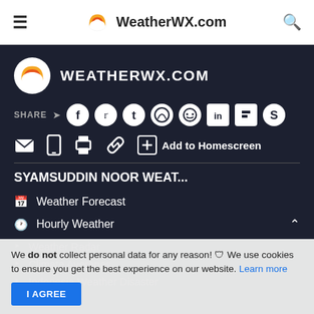≡  WeatherWX.com  🔍
[Figure (logo): WeatherWX.com logo with cloud and sun icon, white text WEATHERWX.COM on dark background]
SHARE ➤ [Facebook] [Twitter] [Tumblr] [WhatsApp] [Reddit] [LinkedIn] [Flipboard] [Skype]
[Email] [Mobile] [Print] [Link] [+] Add to Homescreen
SYAMSUDDIN NOOR WEAT...
📅 Weather Forecast
🕐 Hourly Weather
Weather Radar
Climate Averages
Indonesia Weather Disaster
We do not collect personal data for any reason! 🛡 We use cookies to ensure you get the best experience on our website. Learn more
I AGREE